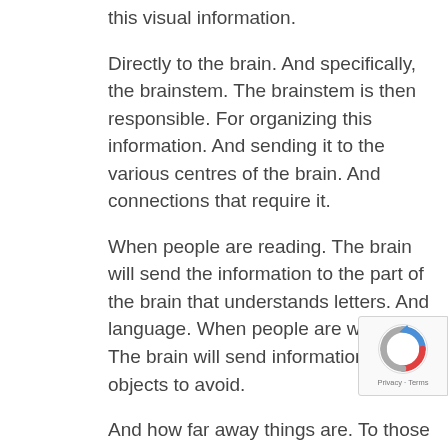this visual information.
Directly to the brain. And specifically, the brainstem. The brainstem is then responsible. For organizing this information. And sending it to the various centres of the brain. And connections that require it.
When people are reading. The brain will send the information to the part of the brain that understands letters. And language. When people are walking. The brain will send information. About objects to avoid.
And how far away things are. To those centres of the brain. In fact, there are thirty-two centres of the brain. That deal with vision directly. And three hundred connections in the brain. That use vision in some way.
And this is one reason why it is difficult to do. That people do...